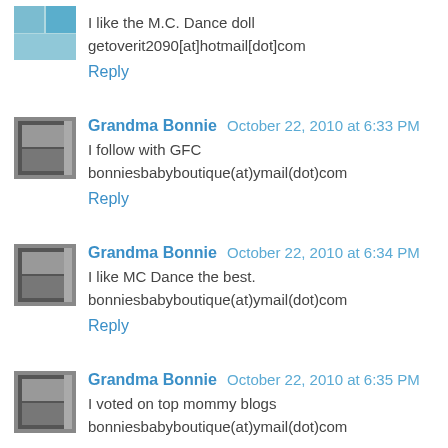I like the M.C. Dance doll
getoverit2090[at]hotmail[dot]com
Reply
Grandma Bonnie   October 22, 2010 at 6:33 PM
I follow with GFC
bonniesbabyboutique(at)ymail(dot)com
Reply
Grandma Bonnie   October 22, 2010 at 6:34 PM
I like MC Dance the best.
bonniesbabyboutique(at)ymail(dot)com
Reply
Grandma Bonnie   October 22, 2010 at 6:35 PM
I voted on top mommy blogs
bonniesbabyboutique(at)ymail(dot)com